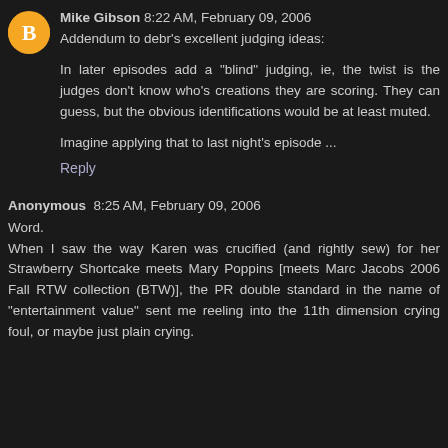Mike Gibson 8:22 AM, February 09, 2006
Addendum to debr's excellent judging ideas:
In later episodes add a "blind" judging, ie, the twist is the judges don't know who's creations they are scoring. They can guess, but the obvious identifications would be at least muted.
Imagine applying that to last night's episode ...
Reply
Anonymous  8:25 AM, February 09, 2006
Word.
When I saw the way Karen was crucified (and rightly sew) for her Strawberry Shortcake meets Mary Poppins [meets Marc Jacobs 2006 Fall RTW collection (BTW)], the PR double standard in the name of "entertainment value" sent me reeling into the 11th dimension crying foul, or maybe just plain crying.